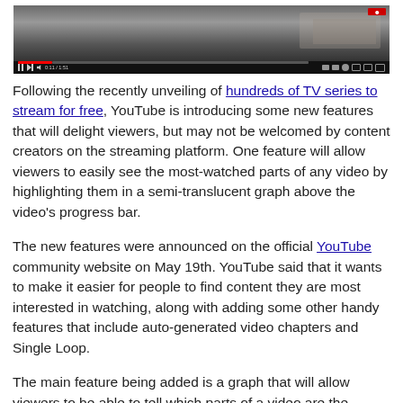[Figure (screenshot): YouTube video player screenshot showing a video paused, with playback controls including pause button, skip, volume, progress bar with red fill, and right-side icons including settings gear and fullscreen.]
Following the recently unveiling of hundreds of TV series to stream for free, YouTube is introducing some new features that will delight viewers, but may not be welcomed by content creators on the streaming platform. One feature will allow viewers to easily see the most-watched parts of any video by highlighting them in a semi-translucent graph above the video's progress bar.
The new features were announced on the official YouTube community website on May 19th. YouTube said that it wants to make it easier for people to find content they are most interested in watching, along with adding some other handy features that include auto-generated video chapters and Single Loop.
The main feature being added is a graph that will allow viewers to be able to tell which parts of a video are the